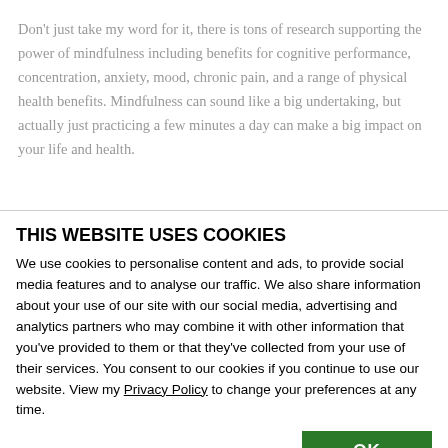Don't just take my word for it, there is tons of research supporting the power of mindfulness including benefits for cognitive performance, concentration, anxiety, mood, chronic pain, and a range of physical health benefits. Mindfulness can sound like a big undertaking, but actually just practicing a few minutes a day can make a big impact on your life and health.
THIS WEBSITE USES COOKIES
We use cookies to personalise content and ads, to provide social media features and to analyse our traffic. We also share information about your use of our site with our social media, advertising and analytics partners who may combine it with other information that you've provided to them or that they've collected from your use of their services. You consent to our cookies if you continue to use our website. View my Privacy Policy to change your preferences at any time.